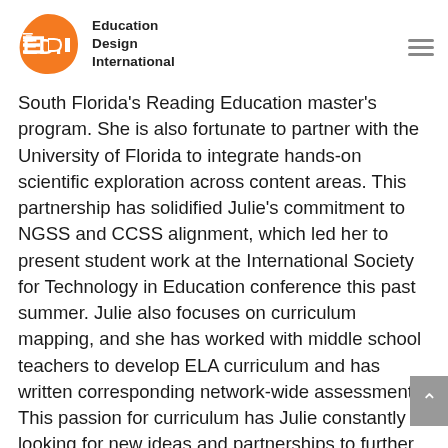[Figure (logo): Education Design International (EDI) logo with orange teardrop shape containing 'EDI' text and the words 'Education Design International' to the right]
South Florida's Reading Education master's program. She is also fortunate to partner with the University of Florida to integrate hands-on scientific exploration across content areas. This partnership has solidified Julie's commitment to NGSS and CCSS alignment, which led her to present student work at the International Society for Technology in Education conference this past summer. Julie also focuses on curriculum mapping, and she has worked with middle school teachers to develop ELA curriculum and has written corresponding network-wide assessments. This passion for curriculum has Julie constantly looking for new ideas and partnerships to further develop student-learning experiences.